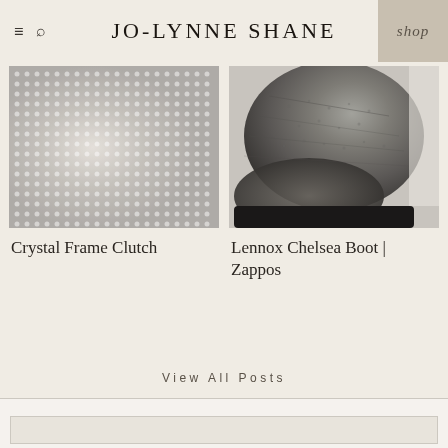JO-LYNNE SHANE
[Figure (photo): Close-up of crystal rhinestone mesh fabric, silver/grey tones, grid pattern of small rhinestones]
Crystal Frame Clutch
[Figure (photo): Close-up of a grey suede Chelsea boot with chunky black sole, Lennox Chelsea Boot from Zappos]
Lennox Chelsea Boot | Zappos
View All Posts